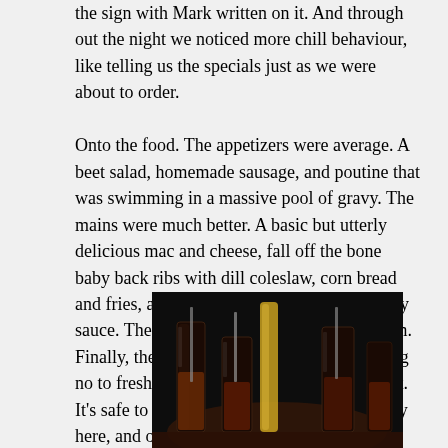the sign with Mark written on it. And through out the night we noticed more chill behaviour, like telling us the specials just as we were about to order.

Onto the food. The appetizers were average. A beet salad, homemade sausage, and poutine that was swimming in a massive pool of gravy. The mains were much better. A basic but utterly delicious mac and cheese, fall off the bone baby back ribs with dill coleslaw, corn bread and fries, and mussels in a surprisingly citrusy sauce. The corn bread should have been warm. Finally, there was absolutely no way of saying no to freshly made doughnuts filled with fruit. It's safe to say this doughnut trend is officially here, and obviously I'm all for it!
[Figure (photo): Dark photo of drinks/glasses on a bar table in dim lighting]